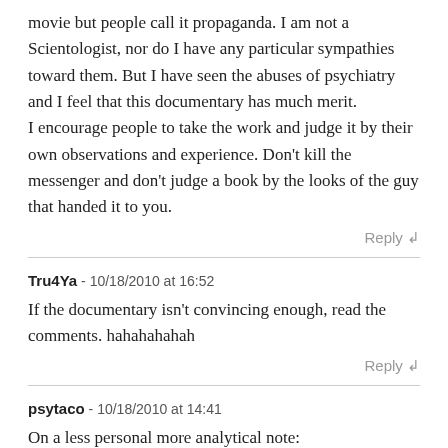movie but people call it propaganda. I am not a Scientologist, nor do I have any particular sympathies toward them. But I have seen the abuses of psychiatry and I feel that this documentary has much merit.
I encourage people to take the work and judge it by their own observations and experience. Don't kill the messenger and don't judge a book by the looks of the guy that handed it to you.
Reply ↲
Tru4Ya - 10/18/2010 at 16:52
If the documentary isn't convincing enough, read the comments. hahahahahah
Reply ↲
psytaco - 10/18/2010 at 14:41
On a less personal more analytical note:
1) I believe psychiatric medications are over prescribed